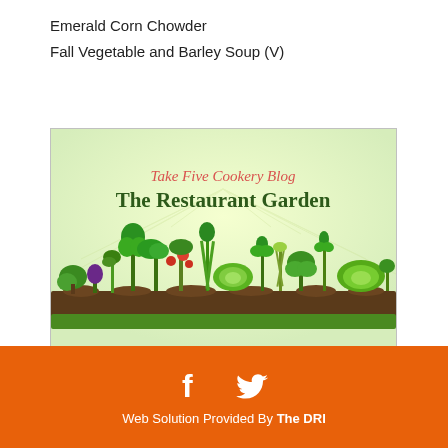Emerald Corn Chowder
Fall Vegetable and Barley Soup (V)
[Figure (illustration): Take Five Cookery Blog – The Restaurant Garden banner image showing illustrated vegetables growing in soil with sun rays, green on light green background]
f  [twitter bird]  Web Solution Provided By The DRI